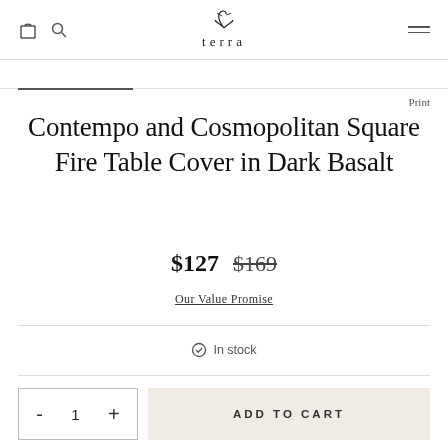terra
Print
Contempo and Cosmopolitan Square Fire Table Cover in Dark Basalt
$127  $169
Our Value Promise
⊙ In stock
- 1 +  ADD TO CART